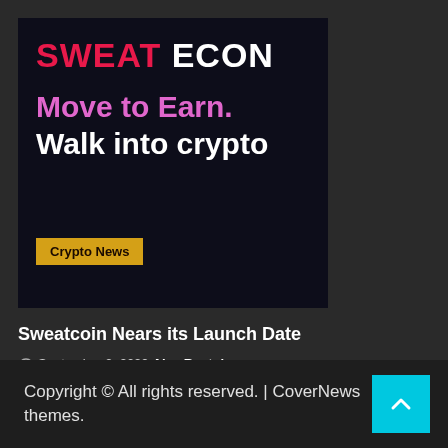[Figure (illustration): Sweat Economy advertisement banner with dark navy background. Top reads 'SWEAT ECON' with 'SWEAT' in red/pink and 'ECON' in white. Large tagline: 'Move to Earn. Walk into crypto' in pink and white bold text. Yellow badge labeled 'Crypto News' at bottom.]
Sweatcoin Nears its Launch Date
September 2, 2022  Alex Rustok
Copyright © All rights reserved. | CoverNews themes.